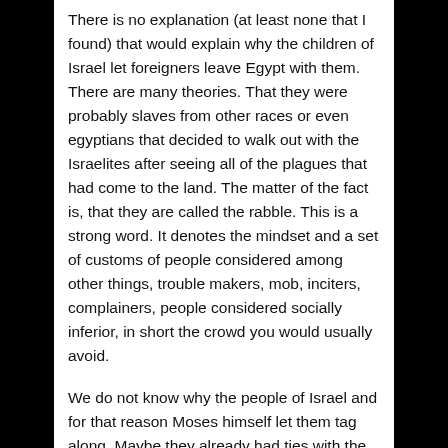There is no explanation (at least none that I found) that would explain why the children of Israel let foreigners leave Egypt with them. There are many theories. That they were probably slaves from other races or even egyptians that decided to walk out with the Israelites after seeing all of the plagues that had come to the land. The matter of the fact is, that they are called the rabble. This is a strong word. It denotes the mindset and a set of customs of people considered among other things, trouble makers, mob, inciters, complainers, people considered socially inferior, in short the crowd you would usually avoid.
We do not know why the people of Israel and for that reason Moses himself let them tag along. Maybe they already had ties with the israelites or it might be convenient for the israelites themselves to use a helping hand with all the treasures they were leaving with, who knows. But what is clear by the events that followed was that these inserts knew nothing about the God of Israel. They wanted the blessing of the chosen but remained distant to the God that chose them. They wanted blessing...